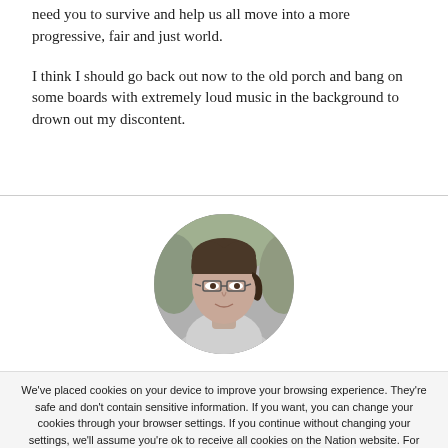need you to survive and help us all move into a more progressive, fair and just world.
I think I should go back out now to the old porch and bang on some boards with extremely loud music in the background to drown out my discontent.
[Figure (photo): Black and white circular portrait photo of a woman with glasses and hair pulled back, outdoors with foliage in background.]
We've placed cookies on your device to improve your browsing experience. They're safe and don't contain sensitive information. If you want, you can change your cookies through your browser settings. If you continue without changing your settings, we'll assume you're ok to receive all cookies on the Nation website. For more information view our privacy policy. I UNDERSTAND